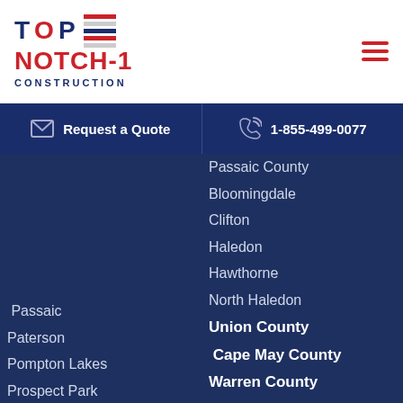[Figure (logo): Top Notch-1 Construction logo with American flag stripes]
Request a Quote
1-855-499-0077
Passaic County
Bloomingdale
Clifton
Haledon
Hawthorne
North Haledon
Union County
Cape May County
Warren County
Middlesex County
Passaic
Paterson
Pompton Lakes
Prospect Park
Ringwood
Singac
Totowa
Wanaque